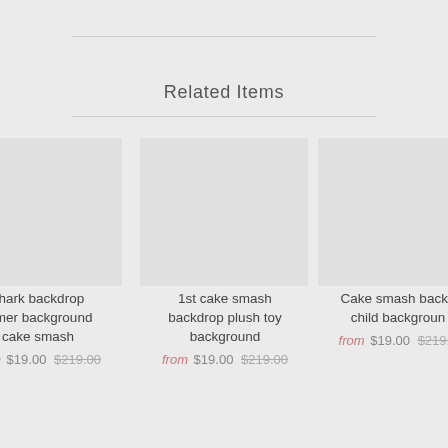Related Items
[Figure (photo): Product image placeholder for shark backdrop summer background cake smash]
Shark backdrop summer background cake smash
from $19.00 $219.00
[Figure (photo): Product image placeholder for 1st cake smash backdrop plush toy background]
1st cake smash backdrop plush toy background
from $19.00 $219.00
[Figure (photo): Product image placeholder for Cake smash backdrop child background]
Cake smash backdrop child background
from $19.00 $219.00